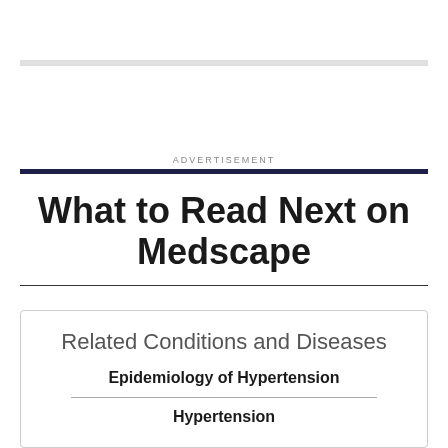ADVERTISEMENT
What to Read Next on Medscape
Related Conditions and Diseases
Epidemiology of Hypertension
Hypertension